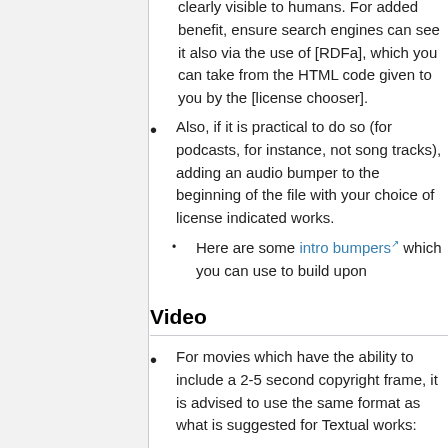clearly visible to humans. For added benefit, ensure search engines can see it also via the use of [RDFa], which you can take from the HTML code given to you by the [license chooser].
Also, if it is practical to do so (for podcasts, for instance, not song tracks), adding an audio bumper to the beginning of the file with your choice of license indicated works.
Here are some intro bumpers which you can use to build upon
Video
For movies which have the ability to include a 2-5 second copyright frame, it is advised to use the same format as what is suggested for Textual works: